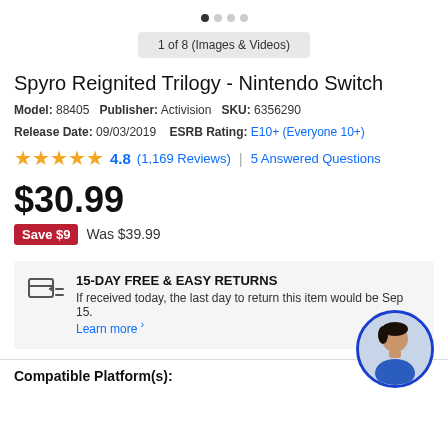[Figure (other): Carousel navigation dots: one filled dark, three light grey]
1 of 8 (Images & Videos)
Spyro Reignited Trilogy - Nintendo Switch
Model: 88405  Publisher: Activision  SKU: 6356290  Release Date: 09/03/2019  ESRB Rating: E10+ (Everyone 10+)
4.8 (1,169 Reviews) | 5 Answered Questions
$30.99
Save $9  Was $39.99
15-DAY FREE & EASY RETURNS
If received today, the last day to return this item would be Sep 15.
Learn more
[Figure (photo): Circular avatar photo of a smiling young man in a blue shirt, with a blue border]
Compatible Platform(s):